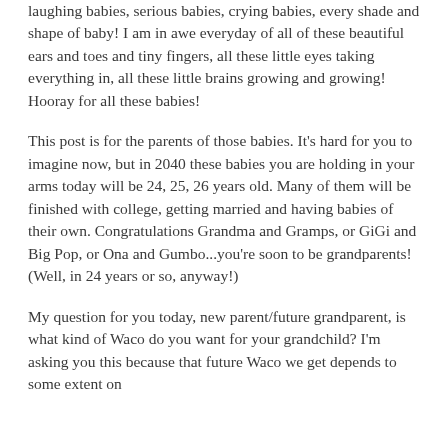laughing babies, serious babies, crying babies, every shade and shape of baby!  I am in awe everyday of all of these beautiful ears and toes and tiny fingers, all these little eyes taking everything in, all these little brains growing and growing! Hooray for all these babies!
This post is for the parents of those babies.  It's hard for you to imagine now, but in 2040 these babies you are holding in your arms today will be 24, 25, 26 years old.  Many of them will be finished with college, getting married and having babies of their own.  Congratulations Grandma and Gramps, or GiGi and Big Pop, or Ona and Gumbo...you're soon to be grandparents! (Well, in 24 years or so, anyway!)
My question for you today, new parent/future grandparent, is what kind of Waco do you want for your grandchild?  I'm asking you this because that future Waco we get depends to some extent on